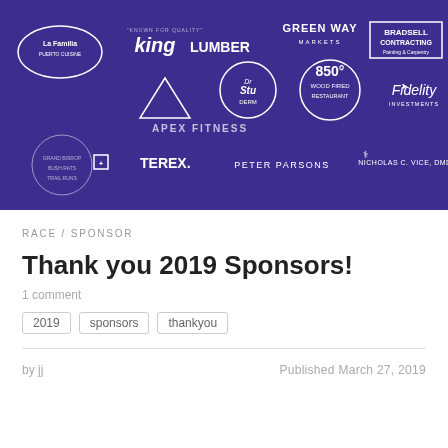[Figure (illustration): Purple banner with white sponsor logos including La Familia, King Lumber, Green Way Markets, Bradsell Contracting, Dr Stu, 850 Wood Fired Restaurant, Fidelity Investments, Apex Fitness, Terex, Peter Parsons, Nicholas C. Vice DMD, Grand Bisrop, Gossett Nursery, Cross River Eye Care, South Salem Winery, Coffees Law Group, Goldberg's Famous Bagels, Cross River Pizza, State Farm, Art & Frame, and others]
RACE / SPONSOR
Thank you 2019 Sponsors!
1 comment
2019
sponsors
thankyou
by jj
Published March 27, 2019